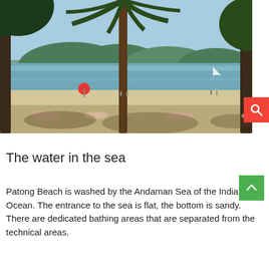[Figure (photo): Beach scene at Patong Beach with palm trees in foreground, people sunbathing on sand, turquoise Andaman Sea water, green hills in background, red umbrella visible. Watermark reads 'Life-globe.com'.]
The water in the sea
Patong Beach is washed by the Andaman Sea of the Indian Ocean. The entrance to the sea is flat, the bottom is sandy. There are dedicated bathing areas that are separated from the technical areas.